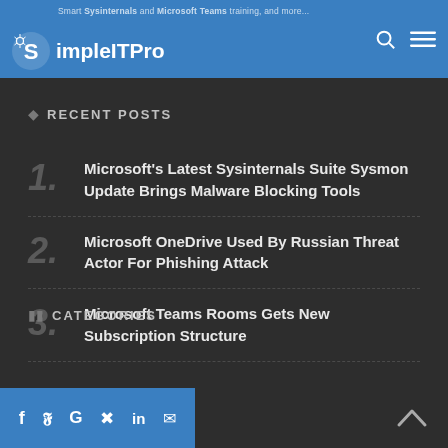SimpleITPro
RECENT POSTS
Microsoft's Latest Sysinternals Suite Sysmon Update Brings Malware Blocking Tools
Microsoft OneDrive Used By Russian Threat Actor For Phishing Attack
Microsoft Teams Rooms Gets New Subscription Structure
CATEGORIES
Social icons footer bar